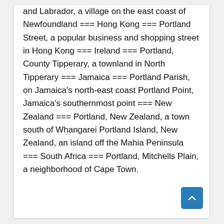and Labrador, a village on the east coast of Newfoundland === Hong Kong === Portland Street, a popular business and shopping street in Hong Kong === Ireland === Portland, County Tipperary, a townland in North Tipperary === Jamaica === Portland Parish, on Jamaica's north-east coast Portland Point, Jamaica's southernmost point === New Zealand === Portland, New Zealand, a town south of Whangarei Portland Island, New Zealand, an island off the Mahia Peninsula === South Africa === Portland, Mitchells Plain, a neighborhood of Cape Town.